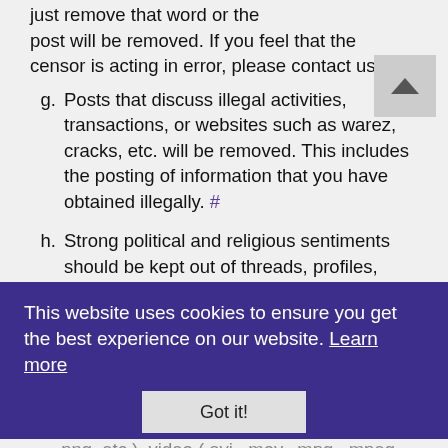just remove that word or the post will be removed. If you feel that the censor is acting in error, please contact us. #
g. Posts that discuss illegal activities, transactions, or websites such as warez, cracks, etc. will be removed. This includes the posting of information that you have obtained illegally. #
h. Strong political and religious sentiments should be kept out of threads, profiles, signatures, and other content. #
i. Do not post copyrighted materials (articles, videos, audio, etc.) that you do not have permission to reproduce or distribute. If you would like to share links to images, videos, files, etc., please refrain from hotlinking. This is the direct linking to images (.jpg, .jpeg, .gif, .png, etc.), video (.avi, .mov, .mpg, .mpeg, .wmv, etc.), audio (.mp3, .wav, etc.), archives (...)
This website uses cookies to ensure you get the best experience on our website. Learn more
Got it!